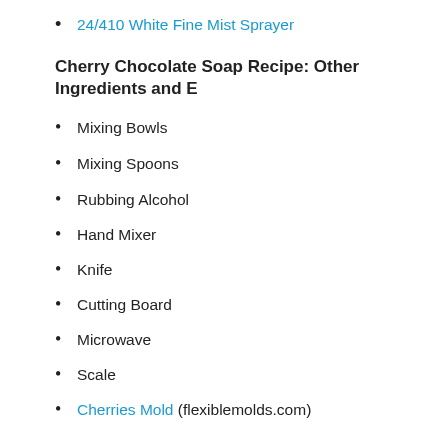24/410 White Fine Mist Sprayer
Cherry Chocolate Soap Recipe: Other Ingredients and E
Mixing Bowls
Mixing Spoons
Rubbing Alcohol
Hand Mixer
Knife
Cutting Board
Microwave
Scale
Cherries Mold (flexiblemolds.com)
Cherry Chocolate Soap Recipe: Before You Get Started
Now it's time to get started making these sweet bath time treats, b and all of your packaging materials. Also, prepare a bottle of rub